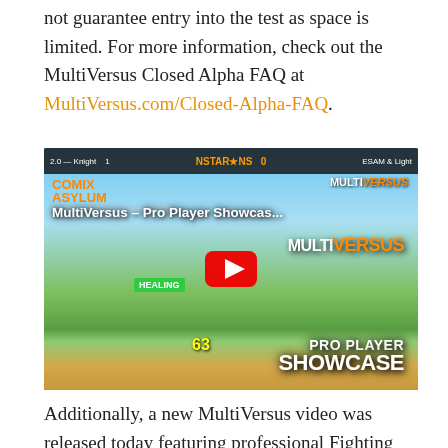not guarantee entry into the test as space is limited. For more information, check out the MultiVersus Closed Alpha FAQ at MultiVersus.com/Closed-Alpha-FAQ.
[Figure (screenshot): YouTube video thumbnail for 'MultiVersus – Pro Player Showcase...' showing game characters including Bugs Bunny and Batman with a red YouTube play button overlay, score bar at top, HEALING tag, score 63, PRO PLAYER SHOWCASE text bottom-right, Comix Asylum logo top-left, MultiVersus logo top-right.]
Additionally, a new MultiVersus video was released today featuring professional Fighting Game Community (FGC) gamers MVD & Lord Knight against ESAM & Light in a fierce 2 vs. 2 competition. Hosted by FGC commentators Sharpie